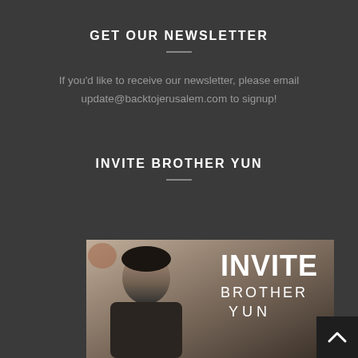GET OUR NEWSLETTER
If you'd like to receive our newsletter, please email update@backtojerusalem.com to signup!
INVITE BROTHER YUN
[Figure (photo): Photo of Brother Yun with text overlay reading INVITE BROTHER YUN]